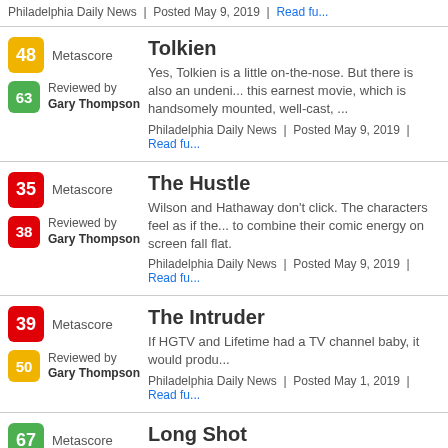Philadelphia Daily News | Posted May 9, 2019 | Read fu...
Tolkien
Yes, Tolkien is a little on-the-nose. But there is also an undeni... this earnest movie, which is handsomely mounted, well-cast, ...
Philadelphia Daily News | Posted May 9, 2019 | Read fu...
The Hustle
Wilson and Hathaway don't click. The characters feel as if the... to combine their comic energy on screen fall flat.
Philadelphia Daily News | Posted May 9, 2019 | Read fu...
The Intruder
If HGTV and Lifetime had a TV channel baby, it would produ...
Philadelphia Daily News | Posted May 1, 2019 | Read fu...
Long Shot
This is an intriguingly weird, gender inversion of the Cinderele...
Philadelphia Daily News | Posted May 1, 2019 | Read fu...
Knock Down the House
Their personal stories are just as interesting, and taken togethe... political moment, equal parts instability and possibility.
Philadelphia Daily News | Posted Apr 30, 2019 | Read...